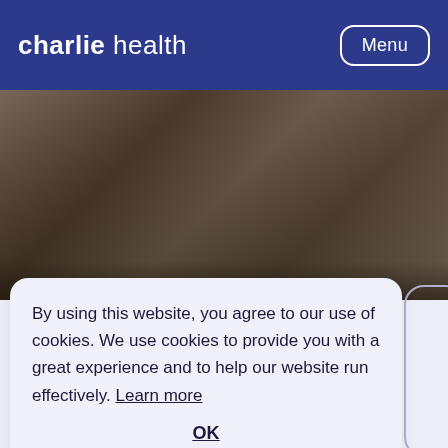charlie health  Menu
[Figure (photo): Close-up photo of two people sitting at a table with glass jars, one person has tattoos visible on their arm.]
By using this website, you agree to our use of cookies. We use cookies to provide you with a great experience and to help our website run effectively.  Learn more
OK